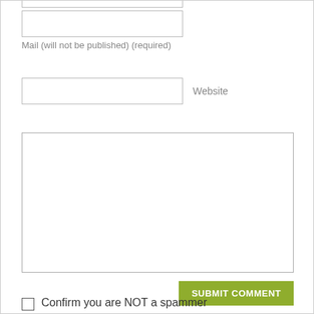[Figure (screenshot): A web comment form showing a mail input field with label 'Mail (will not be published) (required)', a website input field with label 'Website', a large textarea for comment text, a green 'SUBMIT COMMENT' button, and a checkbox with text 'Confirm you are NOT a spammer'.]